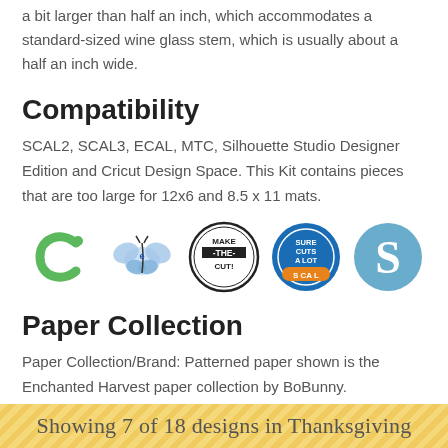a bit larger than half an inch, which accommodates a standard-sized wine glass stem, which is usually about a half an inch wide.
Compatibility
SCAL2, SCAL3, ECAL, MTC, Silhouette Studio Designer Edition and Cricut Design Space. This Kit contains pieces that are too large for 12x6 and 8.5 x 11 mats.
[Figure (logo): Five software/brand logos in a row: Cricut (green C), ECAL (blue butterfly), Make The Cut (circular black/white), Sure Cuts A Lot (blue/orange circle), Silhouette Studio (blue S circle)]
Paper Collection
Paper Collection/Brand: Patterned paper shown is the Enchanted Harvest paper collection by BoBunny.
Showing 7 of 18 designs in Thanksgiving